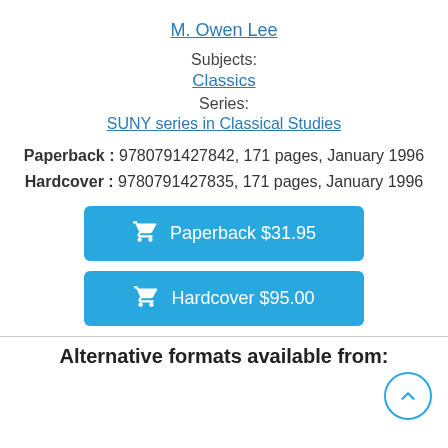M. Owen Lee
Subjects:
Classics
Series:
SUNY series in Classical Studies
Paperback : 9780791427842, 171 pages, January 1996
Hardcover : 9780791427835, 171 pages, January 1996
Paperback $31.95
Hardcover $95.00
Alternative formats available from: